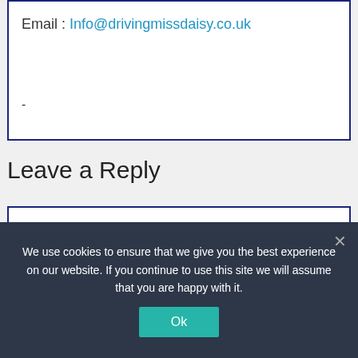Email : Info@drivingmissdaisy.co.uk
-
Leave a Reply
Your email address will not be published. Required fields are marked
We use cookies to ensure that we give you the best experience on our website. If you continue to use this site we will assume that you are happy with it.